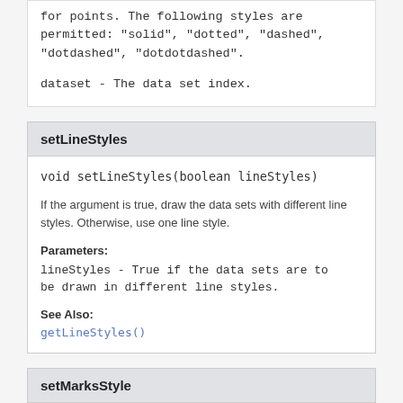for points. The following styles are permitted: "solid", "dotted", "dashed", "dotdashed", "dotdotdashed".
dataset - The data set index.
setLineStyles
void setLineStyles(boolean lineStyles)
If the argument is true, draw the data sets with different line styles. Otherwise, use one line style.
Parameters:
lineStyles - True if the data sets are to be drawn in different line styles.
See Also:
getLineStyles()
setMarksStyle
void setMarksStyle(java.lang.String style)